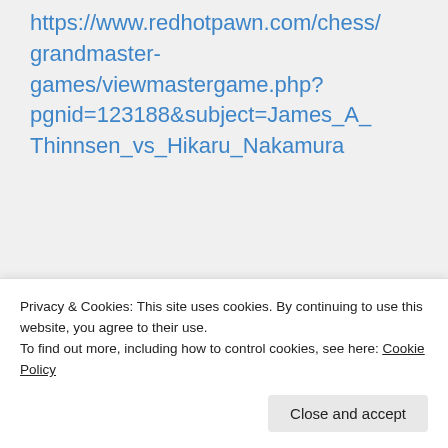https://www.redhotpawn.com/chess/grandmaster-games/viewmastergame.php?pgnid=123188&subject=James_A_Thinnsen_vs_Hikaru_Nakamura
Like
Reply
Troy Britain on February 13,
Privacy & Cookies: This site uses cookies. By continuing to use this website, you agree to their use. To find out more, including how to control cookies, see here: Cookie Policy
Close and accept